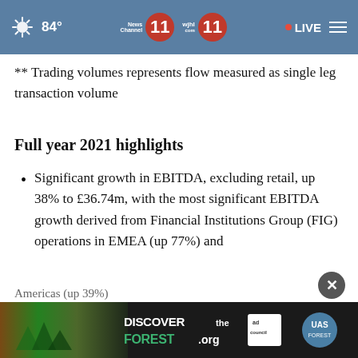84° News Channel 11 wjhl 11 LIVE
** Trading volumes represents flow measured as single leg transaction volume
Full year 2021 highlights
Significant growth in EBITDA, excluding retail, up 38% to £36.74m, with the most significant EBITDA growth derived from Financial Institutions Group (FIG) operations in EMEA (up 77%) and
[Figure (screenshot): DISCOVERtheFOREST.org advertisement banner with ad council and US Forest Service logos]
Americas (up 39%)